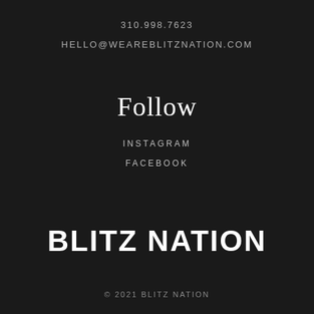310.998.7623
HELLO@WEAREBLITZNATION.COM
Follow
INSTAGRAM
FACEBOOK
BLITZ NATION
© 2021 BLITZ NATION